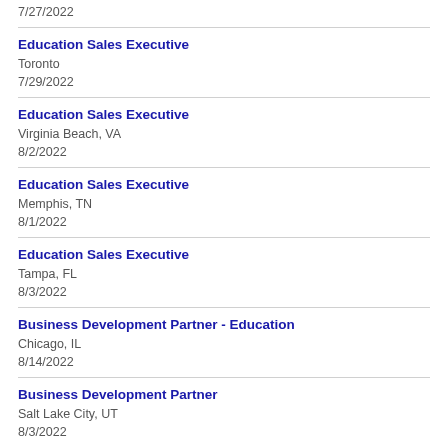7/27/2022
Education Sales Executive
Toronto
7/29/2022
Education Sales Executive
Virginia Beach, VA
8/2/2022
Education Sales Executive
Memphis, TN
8/1/2022
Education Sales Executive
Tampa, FL
8/3/2022
Business Development Partner - Education
Chicago, IL
8/14/2022
Business Development Partner
Salt Lake City, UT
8/3/2022